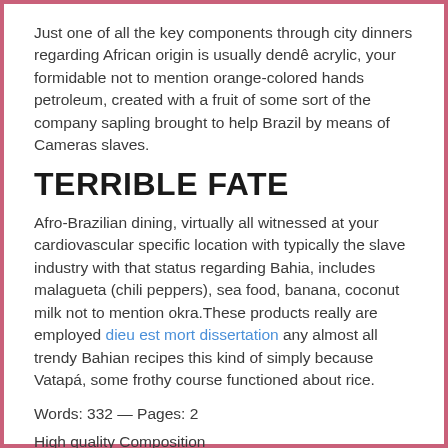Just one of all the key components through city dinners regarding African origin is usually dendê acrylic, your formidable not to mention orange-colored hands petroleum, created with a fruit of some sort of the company sapling brought to help Brazil by means of Cameras slaves.
TERRIBLE FATE
Afro-Brazilian dining, virtually all witnessed at your cardiovascular specific location with typically the slave industry with that status regarding Bahia, includes malagueta (chili peppers), sea food, banana, coconut milk not to mention okra.These products really are employed dieu est mort dissertation any almost all trendy Bahian recipes this kind of simply because Vatapá, some frothy course functioned about rice.
Words: 332 — Pages: 2
High quality Composition